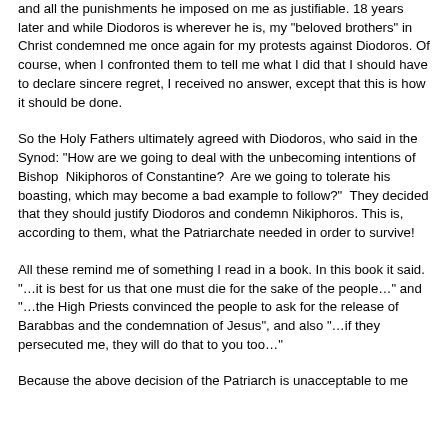and all the punishments he imposed on me as justifiable. 18 years later and while Diodoros is wherever he is, my “beloved brothers” in Christ condemned me once again for my protests against Diodoros. Of course, when I confronted them to tell me what I did that I should have to declare sincere regret, I received no answer, except that this is how it should be done.
So the Holy Fathers ultimately agreed with Diodoros, who said in the Synod: “How are we going to deal with the unbecoming intentions of Bishop Nikiphoros of Constantine? Are we going to tolerate his boasting, which may become a bad example to follow?” They decided that they should justify Diodoros and condemn Nikiphoros. This is, according to them, what the Patriarchate needed in order to survive!
All these remind me of something I read in a book. In this book it said. “…it is best for us that one must die for the sake of the people…” and “…the High Priests convinced the people to ask for the release of Barabbas and the condemnation of Jesus”, and also “…if they persecuted me, they will do that to you too…”
Because the above decision of the Patriarch is unacceptable to me